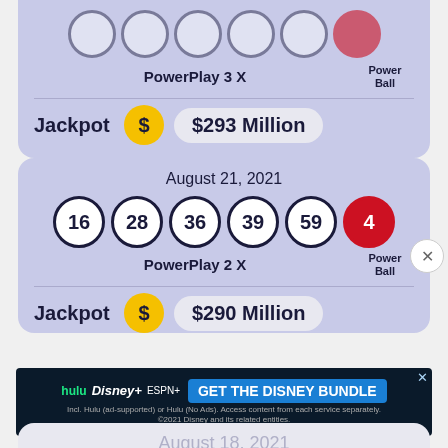[Figure (infographic): Partial Powerball lottery card showing top portion with lottery balls (partially visible) and PowerPlay 3X label, Power Ball label, Jackpot $293 Million]
[Figure (infographic): Powerball lottery card for August 21, 2021 with balls 16, 28, 36, 39, 59 and red Power Ball 4, PowerPlay 2X, Jackpot $290 Million]
[Figure (infographic): Advertisement banner for Disney Bundle featuring Hulu, Disney+, ESPN+, with CTA 'GET THE DISNEY BUNDLE']
[Figure (infographic): Partial lottery card showing August 18, 2021 date]